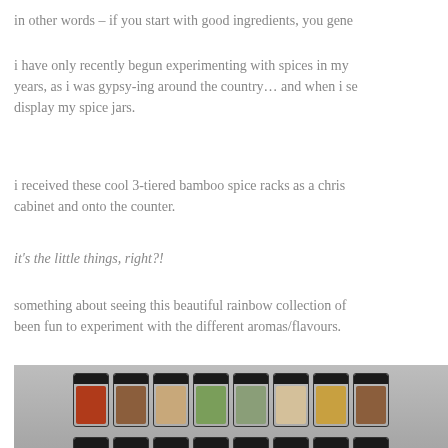in other words – if you start with good ingredients, you gene
i have only recently begun experimenting with spices in my years, as i was gypsy-ing around the country… and when i se display my spice jars.
i received these cool 3-tiered bamboo spice racks as a chri cabinet and onto the counter.
it's the little things, right?!
something about seeing this beautiful rainbow collection of been fun to experiment with the different aromas/flavours.
[Figure (photo): Photo of multiple spice jars with black lids arranged on tiered bamboo spice racks, showing various spices in different colors including reds, browns, greens, and tans.]